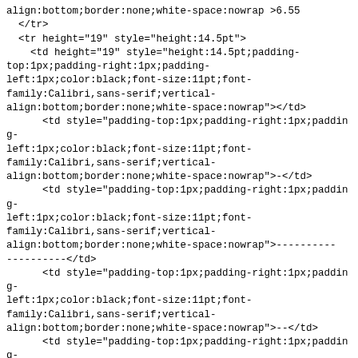align:bottom;border:none;white-space:nowrap >6.55</td>
  </tr>
  <tr height="19" style="height:14.5pt">
    <td height="19" style="height:14.5pt;padding-top:1px;padding-right:1px;padding-left:1px;color:black;font-size:11pt;font-family:Calibri,sans-serif;vertical-align:bottom;border:none;white-space:nowrap"></td>
      <td style="padding-top:1px;padding-right:1px;padding-left:1px;color:black;font-size:11pt;font-family:Calibri,sans-serif;vertical-align:bottom;border:none;white-space:nowrap">-</td>
      <td style="padding-top:1px;padding-right:1px;padding-left:1px;color:black;font-size:11pt;font-family:Calibri,sans-serif;vertical-align:bottom;border:none;white-space:nowrap">----------</td>
      <td style="padding-top:1px;padding-right:1px;padding-left:1px;color:black;font-size:11pt;font-family:Calibri,sans-serif;vertical-align:bottom;border:none;white-space:nowrap">--</td>
      <td style="padding-top:1px;padding-right:1px;padding-left:1px;color:black;font-size:11pt;font-family:Calibri,sans-serif;vertical-align:bottom;border:none;white-space:nowrap">---------</td>
    </td>
      <td style="padding-top:1px;padding-right:1px;padding-left:1px;color:black;font-size:11pt;font-family:Calibri,sans-serif;vertical-align:bottom;border:none;white-space:nowrap">----------